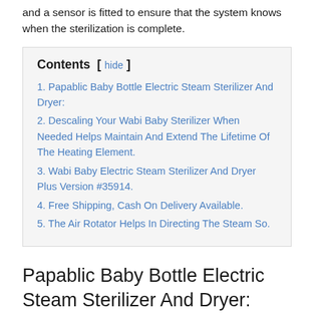and a sensor is fitted to ensure that the system knows when the sterilization is complete.
1. Papablic Baby Bottle Electric Steam Sterilizer And Dryer:
2. Descaling Your Wabi Baby Sterilizer When Needed Helps Maintain And Extend The Lifetime Of The Heating Element.
3. Wabi Baby Electric Steam Sterilizer And Dryer Plus Version #35914.
4. Free Shipping, Cash On Delivery Available.
5. The Air Rotator Helps In Directing The Steam So.
Papablic Baby Bottle Electric Steam Sterilizer And Dryer: